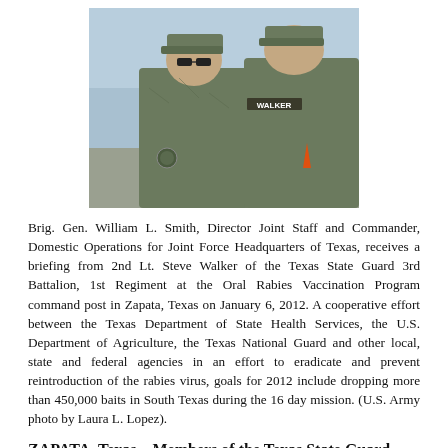[Figure (photo): Two military personnel in camouflage uniforms conversing outdoors. One soldier facing forward wears sunglasses; the other faces away with 'WALKER' name tape visible on uniform.]
Brig. Gen. William L. Smith, Director Joint Staff and Commander, Domestic Operations for Joint Force Headquarters of Texas, receives a briefing from 2nd Lt. Steve Walker of the Texas State Guard 3rd Battalion, 1st Regiment at the Oral Rabies Vaccination Program command post in Zapata, Texas on January 6, 2012. A cooperative effort between the Texas Department of State Health Services, the U.S. Department of Agriculture, the Texas National Guard and other local, state and federal agencies in an effort to eradicate and prevent reintroduction of the rabies virus, goals for 2012 include dropping more than 450,000 baits in South Texas during the 16 day mission. (U.S. Army photo by Laura L. Lopez).
ZAPATA, Texas – Members of the Texas State Guard